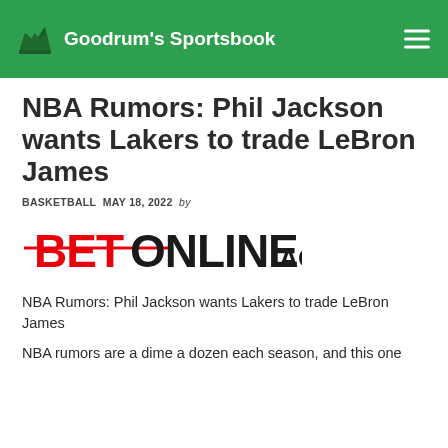Goodrum's Sportsbook
NBA Rumors: Phil Jackson wants Lakers to trade LeBron James
BASKETBALL  MAY 18, 2022  by
[Figure (logo): BetOnline.ag logo — BET in red bold, ONLINE in black bold, .AG in smaller black bold]
NBA Rumors: Phil Jackson wants Lakers to trade LeBron James
NBA rumors are a dime a dozen each season, and this one